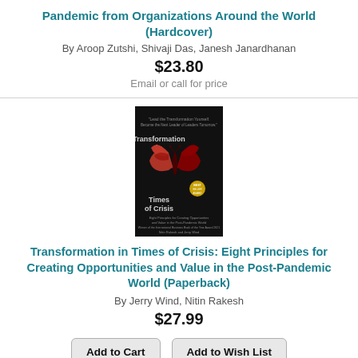Pandemic from Organizations Around the World (Hardcover)
By Aroop Zutshi, Shivaji Das, Janesh Janardhanan
$23.80
Email or call for price
[Figure (photo): Book cover of Transformation in Times of Crisis showing a red butterfly on black background]
Transformation in Times of Crisis: Eight Principles for Creating Opportunities and Value in the Post-Pandemic World (Paperback)
By Jerry Wind, Nitin Rakesh
$27.99
Add to Cart
Add to Wish List